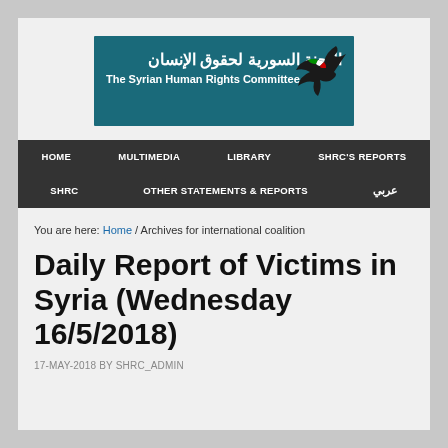[Figure (logo): The Syrian Human Rights Committee logo — dark teal banner with Arabic text and English text 'The Syrian Human Rights Committee', with a bird/dove illustration on the right]
HOME  MULTIMEDIA  LIBRARY  SHRC'S REPORTS  SHRC  OTHER STATEMENTS & REPORTS  عربي
You are here: Home / Archives for international coalition
Daily Report of Victims in Syria (Wednesday 16/5/2018)
17-MAY-2018 BY SHRC_ADMIN